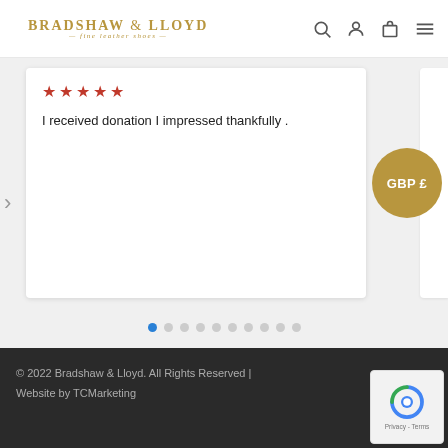BRADSHAW & LLOYD fine leather shoes
I received donation I impressed thankfully .
[Figure (other): GBP £ currency badge (gold circle)]
☀ See All Reviews
© 2022 Bradshaw & Lloyd. All Rights Reserved | Website by TCMarketing